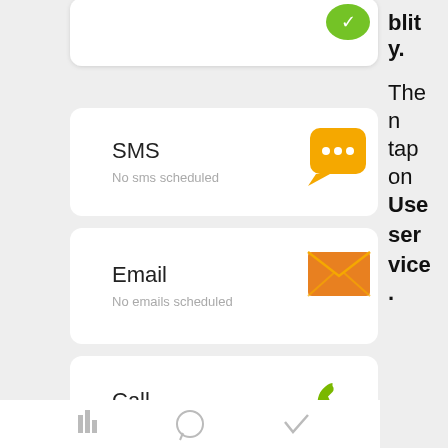[Figure (screenshot): Mobile app UI showing SMS card with orange chat bubble icon, Email card with orange envelope icon, Call card with green phone icon, and partial cards above and below. Right sidebar shows text about 'bility.' then 'The n tap on User service.']
SMS
No sms scheduled
Email
No emails scheduled
Call
No calls scheduled
bility.

The n tap on User service.